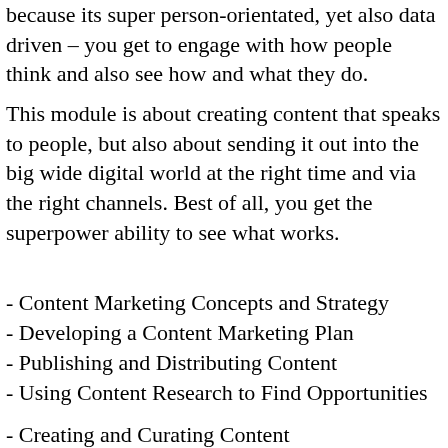because its super person-orientated, yet also data driven – you get to engage with how people think and also see how and what they do.
This module is about creating content that speaks to people, but also about sending it out into the big wide digital world at the right time and via the right channels. Best of all, you get the superpower ability to see what works.
- Content Marketing Concepts and Strategy
- Developing a Content Marketing Plan
- Publishing and Distributing Content
- Using Content Research to Find Opportunities
- Creating and Curating Content